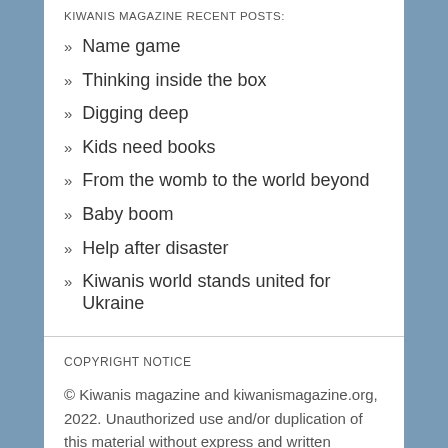KIWANIS MAGAZINE RECENT POSTS:
Name game
Thinking inside the box
Digging deep
Kids need books
From the womb to the world beyond
Baby boom
Help after disaster
Kiwanis world stands united for Ukraine
COPYRIGHT NOTICE
© Kiwanis magazine and kiwanismagazine.org, 2022. Unauthorized use and/or duplication of this material without express and written permission from this site's author and/or owner is strictly prohibited. Excerpts and links may be used, provided that full and clear credit is